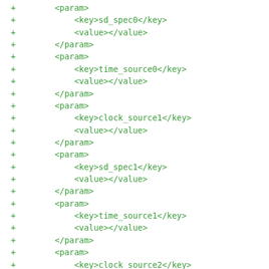+        <param>
+            <key>sd_spec0</key>
+            <value></value>
+        </param>
+        <param>
+            <key>time_source0</key>
+            <value></value>
+        </param>
+        <param>
+            <key>clock_source1</key>
+            <value></value>
+        </param>
+        <param>
+            <key>sd_spec1</key>
+            <value></value>
+        </param>
+        <param>
+            <key>time_source1</key>
+            <value></value>
+        </param>
+        <param>
+            <key>clock_source2</key>
+            <value></value>
+        </param>
+        <param>
+            <key>sd_spec2</key>
+            <value></value>
+        </param>
+        <param>
+            <key>time_source2</key>
+            <value></value>